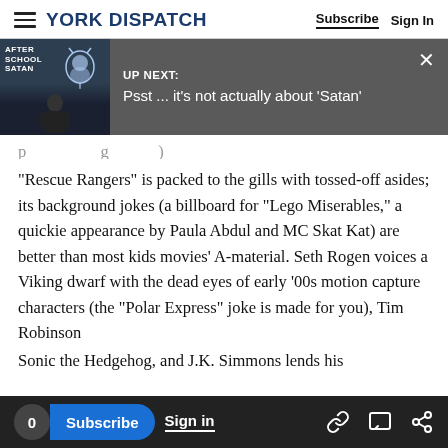YORK DISPATCH | Subscribe  Sign In
[Figure (screenshot): UP NEXT banner with thumbnail showing 'After School Satan' text and a presenter, title: Psst ... it's not actually about 'Satan']
"Rescue Rangers" is packed to the gills with tossed-off asides; its background jokes (a billboard for "Lego Miserables," a quickie appearance by Paula Abdul and MC Skat Kat) are better than most kids movies' A-material. Seth Rogen voices a Viking dwarf with the dead eyes of early '00s motion capture characters (the "Polar Express" joke is made for you), Tim Robinson
Sonic the Hedgehog, and J.K. Simmons lends his
0  Subscribe  Sign in